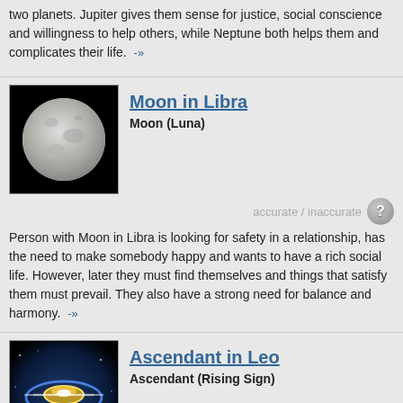two planets. Jupiter gives them sense for justice, social conscience and willingness to help others, while Neptune both helps them and complicates their life. -»
[Figure (photo): Moon photo on black background]
Moon in Libra
Moon (Luna)
accurate / inaccurate ?
Person with Moon in Libra is looking for safety in a relationship, has the need to make somebody happy and wants to have a rich social life. However, later they must find themselves and things that satisfy them must prevail. They also have a strong need for balance and harmony. -»
[Figure (illustration): Ascendant in Leo - cosmic ring on blue background]
Ascendant in Leo
Ascendant (Rising Sign)
accurate / inaccurate ?
People with Leo Ascendant need to use their creativity, authority and power. They are looking for love, admiration and applause. Some might push to the front by force and be eccentric. They should strive to become an independent and distinct person. Potential danger of these people is their pride. -»